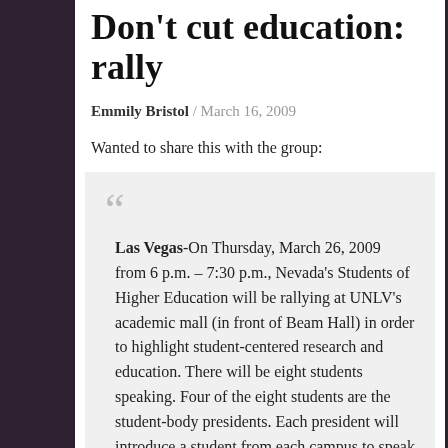Don't cut education: rally
Emmily Bristol / March 16, 2009
Wanted to share this with the group:
Las Vegas-On Thursday, March 26, 2009 from 6 p.m. – 7:30 p.m., Nevada's Students of Higher Education will be rallying at UNLV's academic mall (in front of Beam Hall) in order to highlight student-centered research and education. There will be eight students speaking. Four of the eight students are the student-body presidents. Each president will introduce a student from each campus to speak on how their education and research betters the State of Nevada. The reason for this strong research-